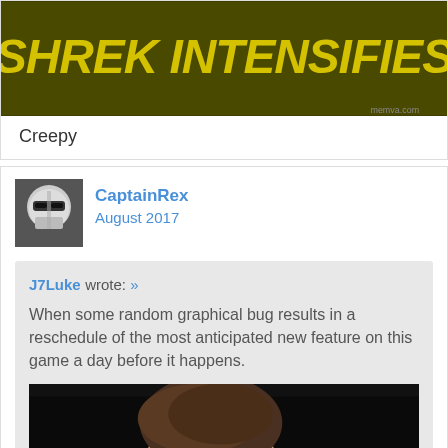[Figure (photo): Meme image with yellow background and bold italic text '[SHREK INTENSIFIES]' in a dark olive/yellow color]
Creepy
[Figure (photo): Avatar of CaptainRex showing a Clone Trooper helmet]
CaptainRex
August 2017
J7Luke wrote: »
When some random graphical bug results in a reschedule of the most anticipated new feature on this game a day before it happens.
[Figure (photo): Photo of Harrison Ford making a skeptical/confused expression, wearing a white t-shirt, dark background, with partial text at bottom]